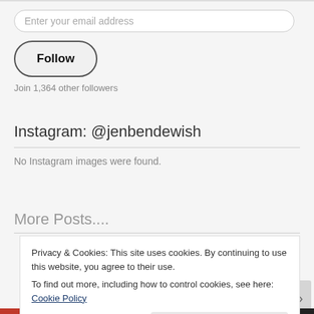Enter your email address
Follow
Join 1,364 other followers
Instagram: @jenbendewish
No Instagram images were found.
More Posts....
Privacy & Cookies: This site uses cookies. By continuing to use this website, you agree to their use.
To find out more, including how to control cookies, see here: Cookie Policy
Close and accept